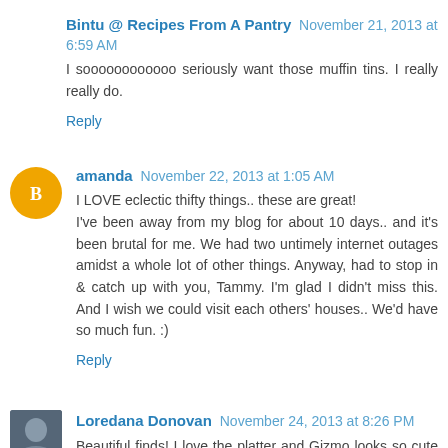Bintu @ Recipes From A Pantry November 21, 2013 at 6:59 AM
I soooooooooooo seriously want those muffin tins. I really really do.
Reply
amanda November 22, 2013 at 1:05 AM
I LOVE eclectic thifty things.. these are great!
I've been away from my blog for about 10 days.. and it's been brutal for me. We had two untimely internet outages amidst a whole lot of other things. Anyway, had to stop in & catch up with you, Tammy. I'm glad I didn't miss this. And I wish we could visit each others' houses.. We'd have so much fun. :)
Reply
Loredana Donovan November 24, 2013 at 8:26 PM
Beautiful finds! I love the platter and Gizmo looks so cute in